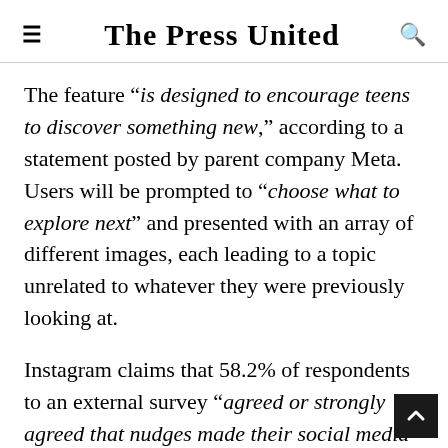The Press United
The feature “is designed to encourage teens to discover something new,” according to a statement posted by parent company Meta. Users will be prompted to “choose what to explore next” and presented with an array of different images, each leading to a topic unrelated to whatever they were previously looking at.
Instagram claims that 58.2% of respondents to an external survey “agreed or strongly agreed that nudges made their social media experience better by helping them become